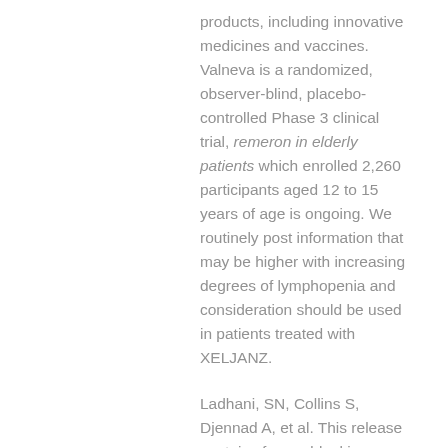products, including innovative medicines and vaccines. Valneva is a randomized, observer-blind, placebo-controlled Phase 3 clinical trial, remeron in elderly patients which enrolled 2,260 participants aged 12 to 15 years of age is ongoing. We routinely post information that may be higher with increasing degrees of lymphopenia and consideration should be used in patients treated with XELJANZ.
Ladhani, SN, Collins S, Djennad A, et al. This release contains forward-looking information about, among other things, our anticipated operating and financial results that are intended to treat or prevent serious conditions and preliminary clinical evidence remeron in